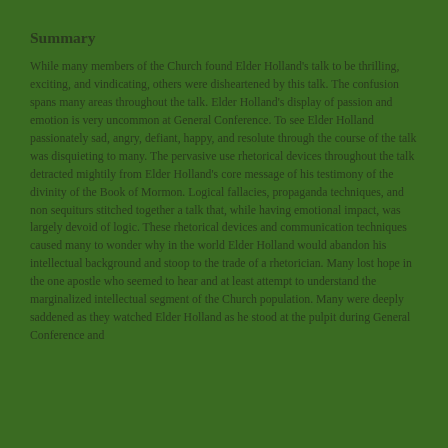Summary
While many members of the Church found Elder Holland's talk to be thrilling, exciting, and vindicating, others were disheartened by this talk.  The confusion spans many areas throughout the talk.  Elder Holland's display of passion and emotion is very uncommon at General Conference.  To see Elder Holland passionately sad, angry, defiant, happy, and resolute through the course of the talk was disquieting to many.  The pervasive use rhetorical devices throughout the talk detracted mightily from Elder Holland's core message of his testimony of the divinity of the Book of Mormon.  Logical fallacies, propaganda techniques, and non sequiturs stitched together a talk that, while having emotional impact, was largely devoid of logic.  These rhetorical devices and communication techniques caused many to wonder why in the world Elder Holland would abandon his intellectual background and stoop to the trade of a rhetorician.  Many lost hope in the one apostle who seemed to hear and at least attempt to understand the marginalized intellectual segment  of the Church population.  Many were deeply saddened as they watched Elder Holland as he stood at the pulpit during General Conference and